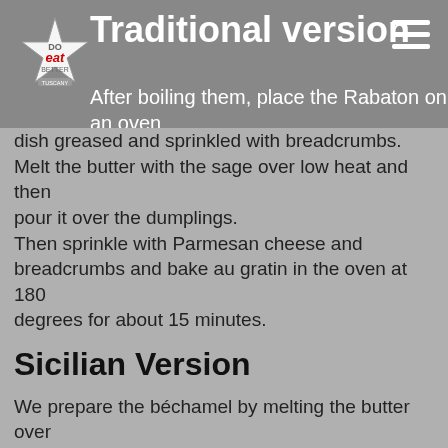Traditional version
After boiling them, place the Rabaton on an oven dish greased and sprinkled with breadcrumbs.
Melt the butter with the sage over low heat and then pour it over the dumplings.
Then sprinkle with Parmesan cheese and breadcrumbs and bake au gratin in the oven at 180 degrees for about 15 minutes.
Sicilian Version
We prepare the béchamel by melting the butter over low heat.
Turn off the heat and add the flour stirring well with a whisk to avoid lumps.
Put the pot back on a low heat and stir until the mixture is golden.
Pour the milk a little at a time, continuing to stir so